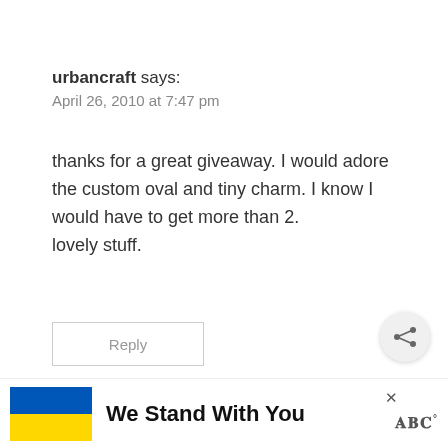urbancraft says:
April 26, 2010 at 7:47 pm
thanks for a great giveaway. I would adore the custom oval and tiny charm. I know I would have to get more than 2.
lovely stuff.
Reply
[Figure (other): Share button icon (speech bubble with plus sign)]
[Figure (other): WHAT'S NEXT arrow label and thumbnail image with text: Rustic Wood Slice...]
[Figure (other): Advertisement banner: Ukraine flag with text 'We Stand With You' and logo]